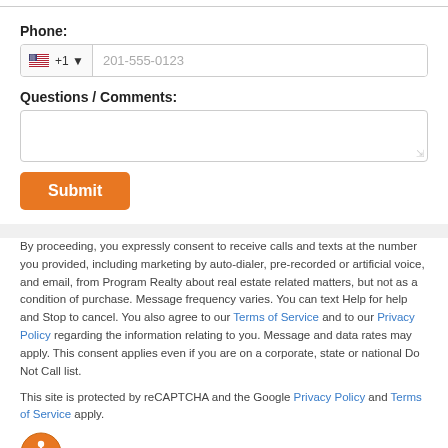Phone:
[Figure (other): Phone input field with US flag, +1 country code selector, and placeholder '201-555-0123']
Questions / Comments:
[Figure (other): Empty text area for questions/comments]
[Figure (other): Orange Submit button]
By proceeding, you expressly consent to receive calls and texts at the number you provided, including marketing by auto-dialer, pre-recorded or artificial voice, and email, from Program Realty about real estate related matters, but not as a condition of purchase. Message frequency varies. You can text Help for help and Stop to cancel. You also agree to our Terms of Service and to our Privacy Policy regarding the information relating to you. Message and data rates may apply. This consent applies even if you are on a corporate, state or national Do Not Call list.
This site is protected by reCAPTCHA and the Google Privacy Policy and Terms of Service apply.
[Figure (illustration): Orange circle accessibility icon with wheelchair user symbol]
Search Condos for Sale in Casa Di Amici